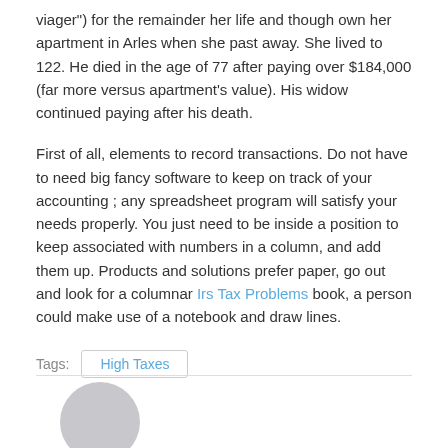viager") for the remainder her life and though own her apartment in Arles when she past away. She lived to 122. He died in the age of 77 after paying over $184,000 (far more versus apartment's value). His widow continued paying after his death.
First of all, elements to record transactions. Do not have to need big fancy software to keep on track of your accounting ; any spreadsheet program will satisfy your needs properly. You just need to be inside a position to keep associated with numbers in a column, and add them up. Products and solutions prefer paper, go out and look for a columnar Irs Tax Problems book, a person could make use of a notebook and draw lines.
Tags: High Taxes